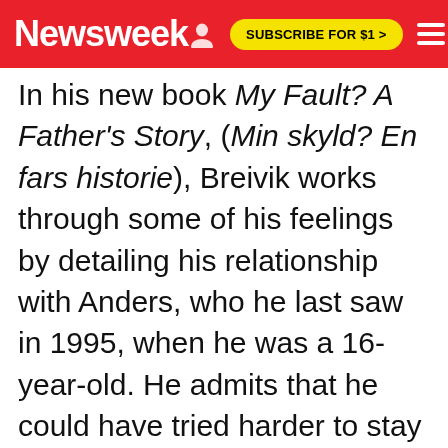Newsweek
In his new book My Fault? A Father's Story, (Min skyld? En fars historie), Breivik works through some of his feelings by detailing his relationship with Anders, who he last saw in 1995, when he was a 16-year-old. He admits that he could have tried harder to stay in contact with his son as he grew into a man. Yet the book, which has already topped the bestsellers list in Norway, should not be read as an apology, but rather as a shattered father's effort to find his own voice.
'The ...